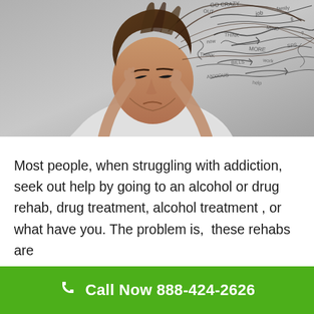[Figure (photo): A man in a white shirt pressing his fingers to his temples with eyes closed, appearing stressed. His hair and the surrounding space is filled with chaotic scribbled lines, words, and arrows representing mental chaos or addiction-related thoughts.]
Most people, when struggling with addiction, seek out help by going to an alcohol or drug rehab, drug treatment, alcohol treatment , or what have you. The problem is,  these rehabs are
Call Now 888-424-2626